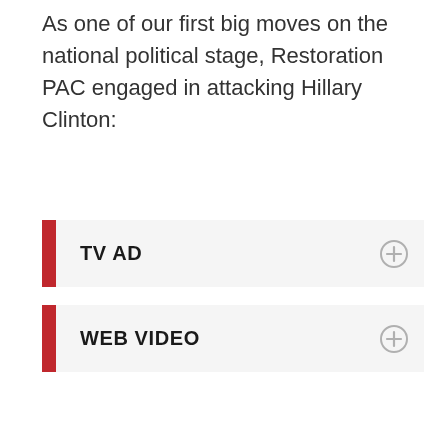As one of our first big moves on the national political stage, Restoration PAC engaged in attacking Hillary Clinton:
TV AD
WEB VIDEO